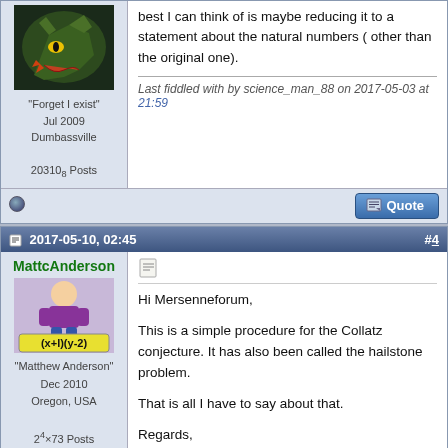best I can think of is maybe reducing it to a statement about the natural numbers ( other than the original one).
Last fiddled with by science_man_88 on 2017-05-03 at 21:59
"Forget I exist" Jul 2009 Dumbassville 20310₈ Posts
2017-05-10, 02:45  #4
MattcAnderson
"Matthew Anderson" Dec 2010 Oregon, USA 2^4×73 Posts
Hi Mersenneforum,

This is a simple procedure for the Collatz conjecture. It has also been called the hailstone problem.

That is all I have to say about that.

Regards,
Matt
Attached Files